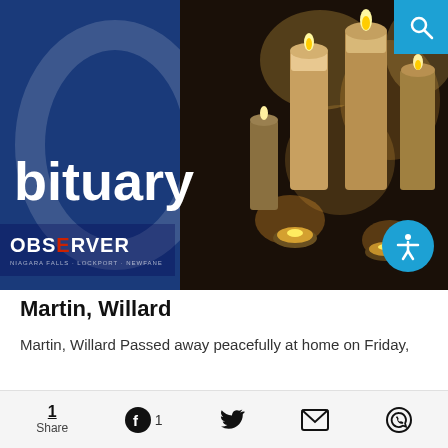[Figure (photo): Obituary header image showing candles on a dark background on the right side, and a blue background with 'Obituary' text in white and 'OBSERVER' newspaper logo on the left side]
Martin, Willard
Martin, Willard Passed away peacefully at home on Friday,